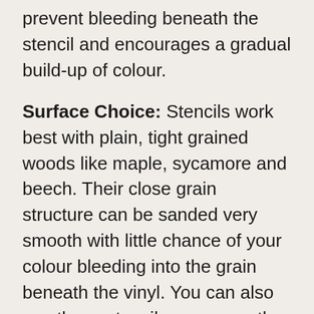prevent bleeding beneath the stencil and encourages a gradual build-up of colour.
Surface Choice: Stencils work best with plain, tight grained woods like maple, sycamore and beech. Their close grain structure can be sanded very smooth with little chance of your colour bleeding into the grain beneath the vinyl. You can also use these stencils on many other hard smooth surfaces such as metal, glass, paint etc.
Safety: Take precautions to look after your skin,